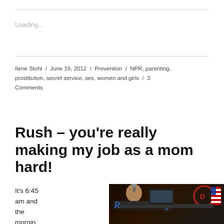Loading...
Ilene Stohl / June 19, 2012 / Prevention / NPR, parenting, prostitution, secret service, sex, women and girls / 3 Comments
Rush – you're really making my job as a mom hard!
It's 6:45 am and the mornin
[Figure (photo): Photo of a man in a dark suit sitting at a radio broadcast desk with neon signs in the background and an American flag]